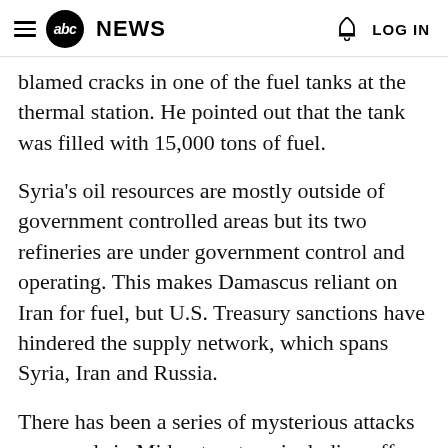abc NEWS  LOG IN
blamed cracks in one of the fuel tanks at the thermal station. He pointed out that the tank was filled with 15,000 tons of fuel.
Syria's oil resources are mostly outside of government controlled areas but its two refineries are under government control and operating. This makes Damascus reliant on Iran for fuel, but U.S. Treasury sanctions have hindered the supply network, which spans Syria, Iran and Russia.
There has been a series of mysterious attacks on vessels in Mideast waters, including off Syria's coast, for over a year. They have come